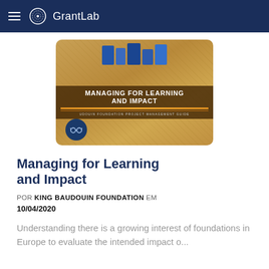GrantLab
[Figure (illustration): Book cover for 'Managing for Learning and Impact' by King Baudouin Foundation Project Management Guide, showing a sandy/brown textured background with book spines at top, orange stripes, and a small circular icon with glasses]
Managing for Learning and Impact
POR KING BAUDOUIN FOUNDATION EM 10/04/2020
Understanding there is a growing interest of foundations in Europe to evaluate the intended impact o...